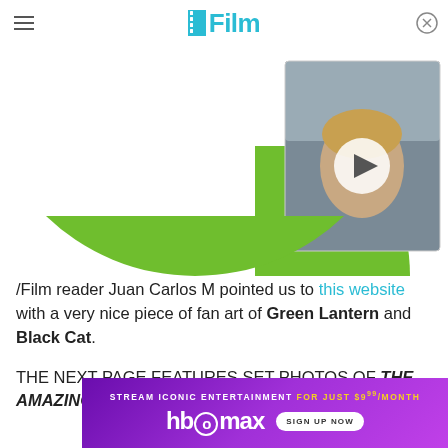/Film
[Figure (photo): Green circle/arc shape with video thumbnail inset showing a man with bruises and a play button overlay; part of a website advertisement or article image area]
/Film reader Juan Carlos M pointed us to this website with a very nice piece of fan art of Green Lantern and Black Cat.
THE NEXT PAGE FEATURES SET PHOTOS OF THE AMAZING SPIDER-MAN AND MAN OF STEEL, BEWA
[Figure (advertisement): HBO Max banner ad: STREAM ICONIC ENTERTAINMENT FOR JUST $9.99/MONTH — HBOmax — SIGN UP NOW]